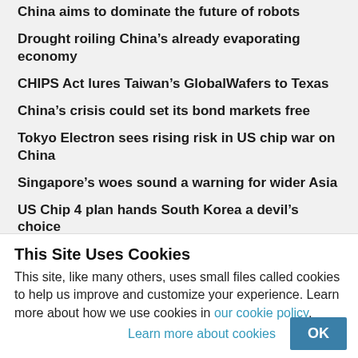China aims to dominate the future of robots
Drought roiling China's already evaporating economy
CHIPS Act lures Taiwan's GlobalWafers to Texas
China's crisis could set its bond markets free
Tokyo Electron sees rising risk in US chip war on China
Singapore's woes sound a warning for wider Asia
US Chip 4 plan hands South Korea a devil's choice
US Fed becoming Asia's Public Enemy No. 1
This Site Uses Cookies
This site, like many others, uses small files called cookies to help us improve and customize your experience. Learn more about how we use cookies in our cookie policy.
Learn more about cookies
OK